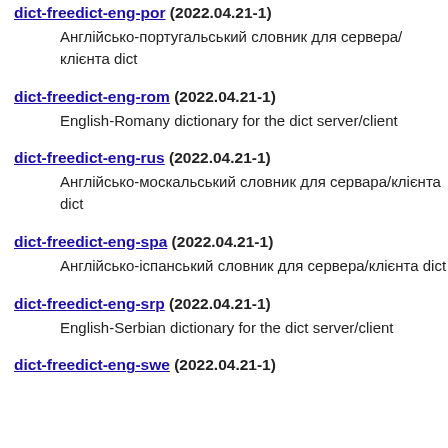dict-freedict-eng-por (2022.04.21-1)
Англійсько-португальський словник для сервера/клієнта dict
dict-freedict-eng-rom (2022.04.21-1)
English-Romany dictionary for the dict server/client
dict-freedict-eng-rus (2022.04.21-1)
Англійсько-москальський словник для сервера/клієнта dict
dict-freedict-eng-spa (2022.04.21-1)
Англійсько-іспанський словник для сервера/клієнта dict
dict-freedict-eng-srp (2022.04.21-1)
English-Serbian dictionary for the dict server/client
dict-freedict-eng-swe (2022.04.21-1)